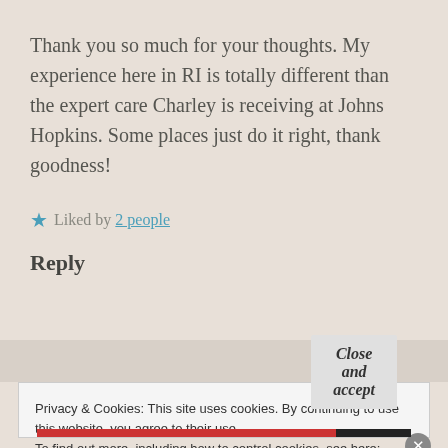Thank you so much for your thoughts. My experience here in RI is totally different than the expert care Charley is receiving at Johns Hopkins. Some places just do it right, thank goodness!
★ Liked by 2 people
Reply
Privacy & Cookies: This site uses cookies. By continuing to use this website, you agree to their use.
To find out more, including how to control cookies, see here: Cookie Policy
Close and accept